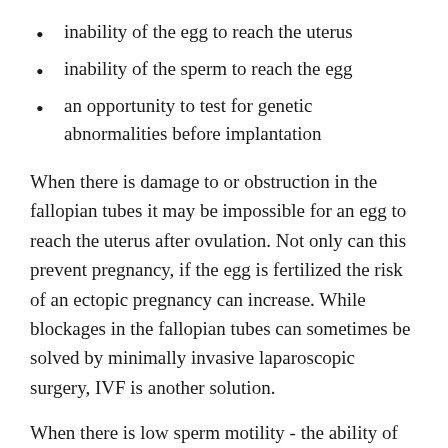inability of the egg to reach the uterus
inability of the sperm to reach the egg
an opportunity to test for genetic abnormalities before implantation
When there is damage to or obstruction in the fallopian tubes it may be impossible for an egg to reach the uterus after ovulation. Not only can this prevent pregnancy, if the egg is fertilized the risk of an ectopic pregnancy can increase. While blockages in the fallopian tubes can sometimes be solved by minimally invasive laparoscopic surgery, IVF is another solution.
When there is low sperm motility - the ability of